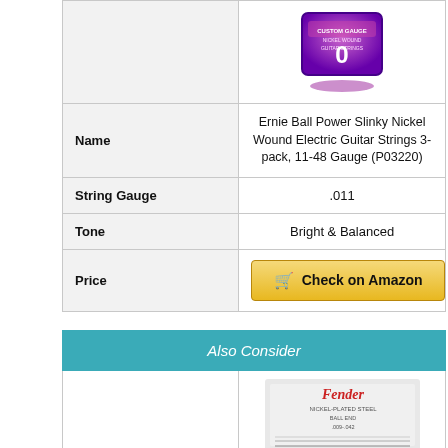|  |  |
| --- | --- |
| [Product Image] | [Ernie Ball Power Slinky strings image] |
| Name | Ernie Ball Power Slinky Nickel Wound Electric Guitar Strings 3-pack, 11-48 Gauge (P03220) |
| String Gauge | .011 |
| Tone | Bright & Balanced |
| Price | Check on Amazon |
Also Consider
[Figure (photo): Fender guitar strings product photo bottom portion]